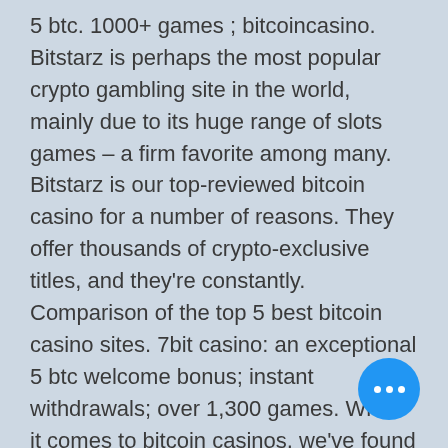5 btc. 1000+ games ; bitcoincasino. Bitstarz is perhaps the most popular crypto gambling site in the world, mainly due to its huge range of slots games – a firm favorite among many. Bitstarz is our top-reviewed bitcoin casino for a number of reasons. They offer thousands of crypto-exclusive titles, and they're constantly. Comparison of the top 5 best bitcoin casino sites. 7bit casino: an exceptional 5 btc welcome bonus; instant withdrawals; over 1,300 games. When it comes to bitcoin casinos, we've found bitstarz casino to be the best, and we're going to tell you why. The casino site not only ticks. Cloudbet's sportsbook offers the best odds on all the top sporting leagues and competitions. Along with the highest limits to match. Com – best for all types of betting. Welcome bonus: 10% rakeback using c. Discover the top 10 bitcoin casino sites. $5000 in free bonuses and other promotions
[Figure (other): Blue circular floating action button with three white dots (ellipsis icon)]